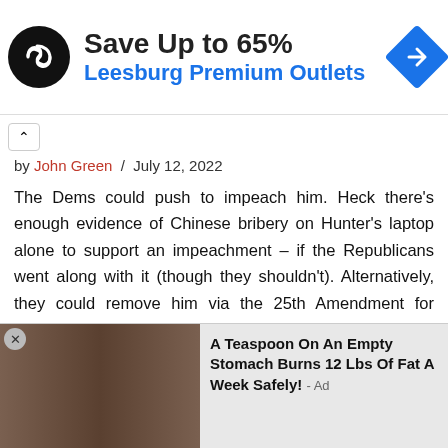[Figure (illustration): Advertisement banner for Leesburg Premium Outlets: black circular logo with infinity/arrow symbol, 'Save Up to 65%' in bold black text, 'Leesburg Premium Outlets' in blue text, blue diamond navigation icon on right.]
by John Green / July 12, 2022
The Dems could push to impeach him. Heck there's enough evidence of Chinese bribery on Hunter's laptop alone to support an impeachment – if the Republicans went along with it (though they shouldn't). Alternatively, they could remove him via the 25th Amendment for cognitive inability to do the job. That would be one of the easiest cases in history to make. But I'm guessing the optics of Dr. Jill, clawing at the doorframe, as security drags her from the White House would be a show the
[Figure (photo): Advertisement photo showing two women from behind wearing black swimwear/bras, with text 'A Teaspoon On An Empty Stomach Burns 12 Lbs Of Fat A Week Safely! - Ad']